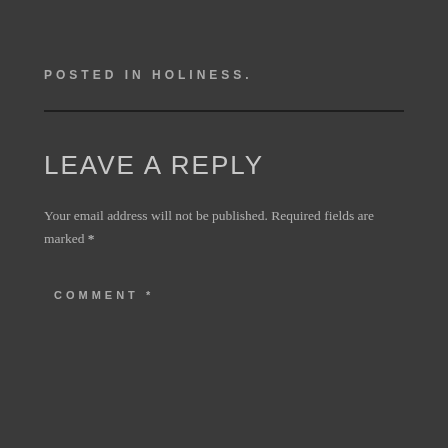POSTED IN HOLINESS.
LEAVE A REPLY
Your email address will not be published. Required fields are marked *
COMMENT *